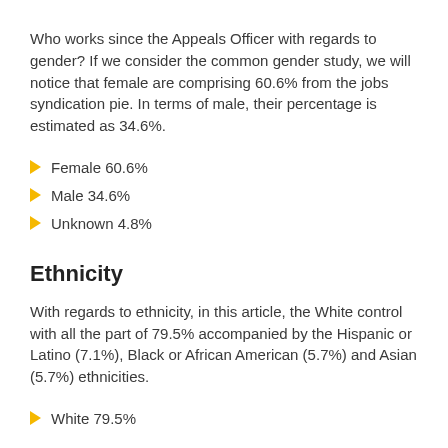Who works since the Appeals Officer with regards to gender? If we consider the common gender study, we will notice that female are comprising 60.6% from the jobs syndication pie. In terms of male, their percentage is estimated as 34.6%.
Female 60.6%
Male 34.6%
Unknown 4.8%
Ethnicity
With regards to ethnicity, in this article, the White control with all the part of 79.5% accompanied by the Hispanic or Latino (7.1%), Black or African American (5.7%) and Asian (5.7%) ethnicities.
White 79.5%